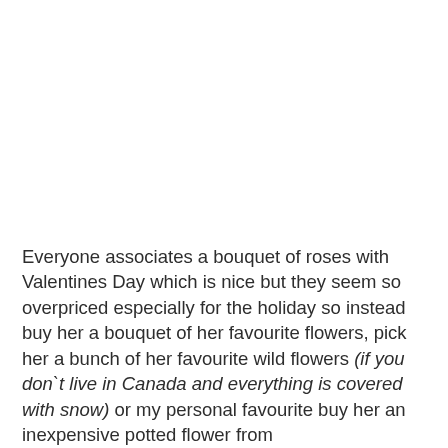Everyone associates a bouquet of roses with Valentines Day which is nice but they seem so overpriced especially for the holiday so instead buy her a bouquet of her favourite flowers, pick her a bunch of her favourite wild flowers (if you don`t live in Canada and everything is covered with snow) or my personal favourite buy her an inexpensive potted flower from